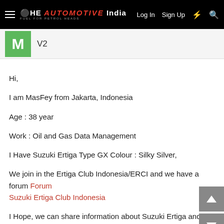THE AUTOMOTIVE INDIA — Log In  Sign Up
V2
Hi,

I am MasFey from Jakarta, Indonesia
Age : 38 year
Work : Oil and Gas Data Management

I Have Suzuki Ertiga Type GX Colour : Silky Silver,

We join in the Ertiga Club Indonesia/ERCI and we have a forum Forum Suzuki Ertiga Club Indonesia

I Hope, we can share information about Suzuki Ertiga and make a friend with Ertiga Users in India.

Thanks you.